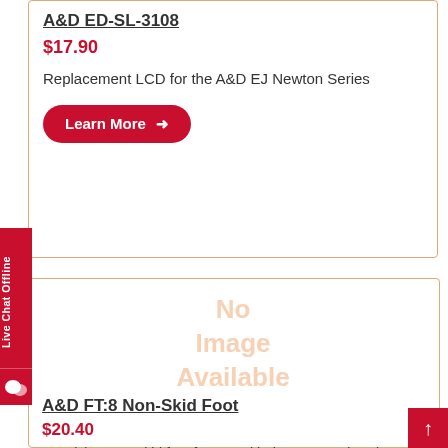A&D ED-SL-3108
$17.90
Replacement LCD for the A&D EJ Newton Series
Learn More →
[Figure (other): No Image Available placeholder for A&D FT:8 Non-Skid Foot product]
A&D FT:8 Non-Skid Foot
$20.40
One (1) 2" non skid foot for use with the A&D FC-i Series Counting Scale